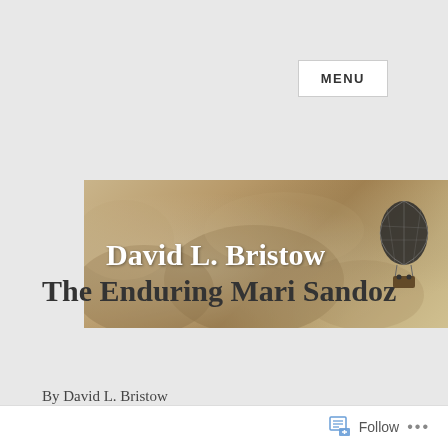MENU
[Figure (illustration): Banner image with sepia-toned landscape background showing trees and sky, with a hot air balloon at the right side. Text overlay reads 'David L. Bristow' in white serif bold font.]
The Enduring Mari Sandoz
By David L. Bristow
Follow ...